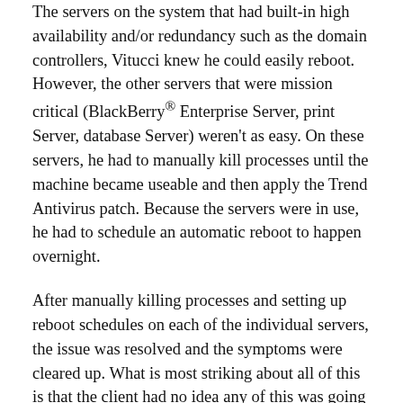The servers on the system that had built-in high availability and/or redundancy such as the domain controllers, Vitucci knew he could easily reboot. However, the other servers that were mission critical (BlackBerry® Enterprise Server, print Server, database Server) weren't as easy. On these servers, he had to manually kill processes until the machine became useable and then apply the Trend Antivirus patch. Because the servers were in use, he had to schedule an automatic reboot to happen overnight.
After manually killing processes and setting up reboot schedules on each of the individual servers, the issue was resolved and the symptoms were cleared up. What is most striking about all of this is that the client had no idea any of this was going on. Vitucci says that he discovered the problem on his own, while doing his job of proactive IT Support and managed services for the client.  Instead of just reacting to a client complaint, Nick Vitucci discovered